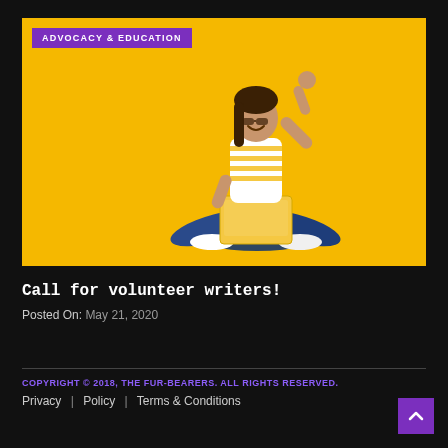[Figure (photo): Yellow background photo of a woman sitting cross-legged with a laptop on her lap, one arm raised in celebration, wearing a striped shirt and jeans. An 'ADVOCACY & EDUCATION' purple badge is overlaid on the top-left corner of the image.]
Call for volunteer writers!
Posted On: May 21, 2020
COPYRIGHT © 2018, THE FUR-BEARERS. ALL RIGHTS RESERVED.
Privacy  |  Policy  |  Terms & Conditions